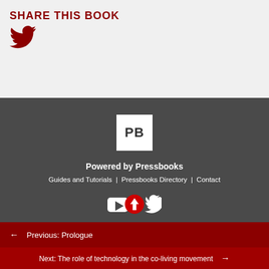SHARE THIS BOOK
[Figure (logo): Twitter bird icon in dark red]
[Figure (logo): Pressbooks PB logo white square with bold PB text]
Powered by Pressbooks
Guides and Tutorials  |  Pressbooks Directory  |  Contact
[Figure (illustration): Social share icons: YouTube, upward arrow in red circle, Twitter bird]
← Previous: Prologue
Next: The role of technology in the co-living movement →